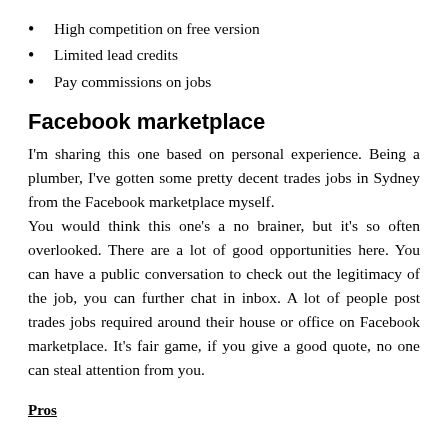High competition on free version
Limited lead credits
Pay commissions on jobs
Facebook marketplace
I'm sharing this one based on personal experience. Being a plumber, I've gotten some pretty decent trades jobs in Sydney from the Facebook marketplace myself.
You would think this one's a no brainer, but it's so often overlooked. There are a lot of good opportunities here. You can have a public conversation to check out the legitimacy of the job, you can further chat in inbox. A lot of people post trades jobs required around their house or office on Facebook marketplace. It's fair game, if you give a good quote, no one can steal attention from you.
Pros